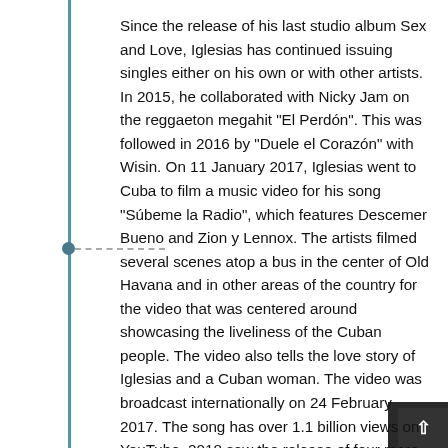Since the release of his last studio album Sex and Love, Iglesias has continued issuing singles either on his own or with other artists. In 2015, he collaborated with Nicky Jam on the reggaeton megahit "El Perdón". This was followed in 2016 by "Duele el Corazón" with Wisin. On 11 January 2017, Iglesias went to Cuba to film a music video for his song "Súbeme la Radio", which features Descemer Bueno and Zion y Lennox. The artists filmed several scenes atop a bus in the center of Old Havana and in other areas of the country for the video that was centered around showcasing the liveliness of the Cuban people. The video also tells the love story of Iglesias and a Cuban woman. The video was broadcast internationally on 24 February 2017. The song has over 1.1 billion views on YouTube. 2018 saw the release of four more collaborative singles and in 2019 Iglesias put out the track "Después Que Te Perdí" together with Jon Z.